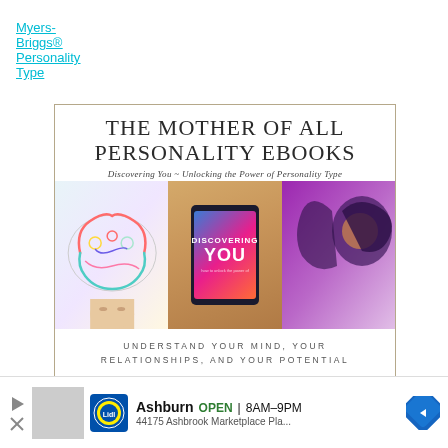Myers-Briggs® Personality Type
[Figure (illustration): Promotional advertisement for 'The Mother of All Personality Ebooks' - Discovering You: Unlocking the Power of Personality Type. Shows three images: a colorful brain illustration, a tablet with the ebook cover, and an artistic portrait. Includes text 'Understand your mind, your relationships, and your potential' and a coral 'CLICK HERE' button.]
[Figure (infographic): Bottom ad banner for Lidl in Ashburn - Open 8AM-9PM, 44175 Ashbrook Marketplace Pla...]